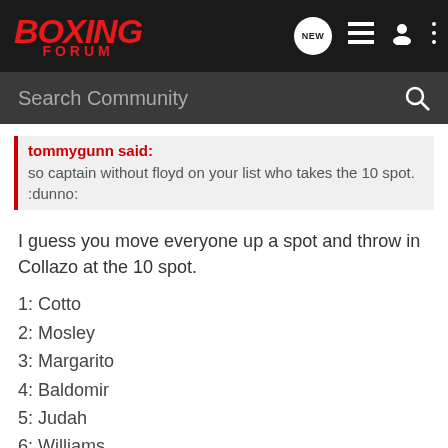BOXING FORUM
tommygunn said: so captain without floyd on your list who takes the 10 spot. :dunno:
I guess you move everyone up a spot and throw in Collazo at the 10 spot.
1: Cotto
2: Mosley
3: Margarito
4: Baldomir
5: Judah
6: Williams
7: Quintana
8: Berto
9: Cintron
10: Collazo